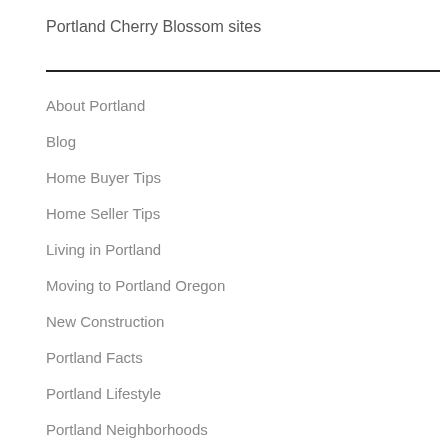Portland Cherry Blossom sites
About Portland
Blog
Home Buyer Tips
Home Seller Tips
Living in Portland
Moving to Portland Oregon
New Construction
Portland Facts
Portland Lifestyle
Portland Neighborhoods
Portland Oregon Real Estate
Portland Suburbs